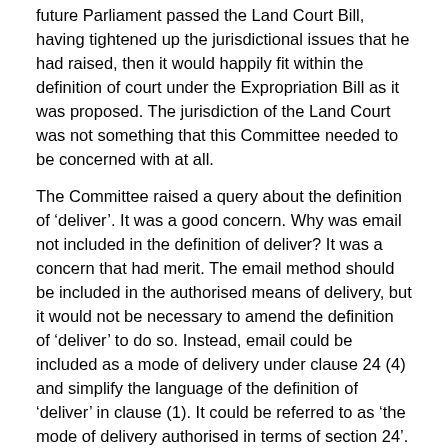future Parliament passed the Land Court Bill, having tightened up the jurisdictional issues that he had raised, then it would happily fit within the definition of court under the Expropriation Bill as it was proposed. The jurisdiction of the Land Court was not something that this Committee needed to be concerned with at all.
The Committee raised a query about the definition of ‘deliver’. It was a good concern. Why was email not included in the definition of deliver? It was a concern that had merit. The email method should be included in the authorised means of delivery, but it would not be necessary to amend the definition of ‘deliver’ to do so. Instead, email could be included as a mode of delivery under clause 24 (4) and simplify the language of the definition of ‘deliver’ in clause (1). It could be referred to as ‘the mode of delivery authorised in terms of section 24’. He added one qualification. Like with the transmission of fax, there may be glitches with the email system. To ensure that delivery was effective, the Committee might want to consider requiring that delivery by email be followed up with the delivery of snail mail.
The DA also raised a concern about the definition of ‘disputing parties’. What lay at the core of the query was a concern as to why the definition of ‘disputing parties’ did not include parties